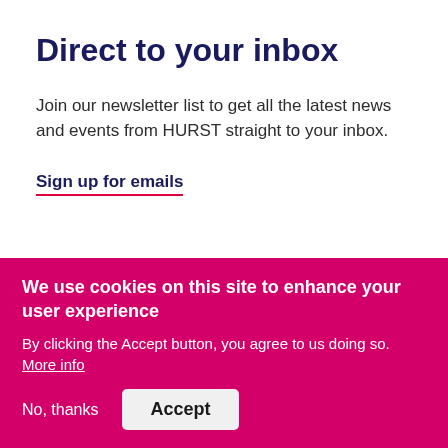Direct to your inbox
Join our newsletter list to get all the latest news and events from HURST straight to your inbox.
Sign up for emails
[Figure (infographic): Social media icons: Facebook, LinkedIn, Twitter, YouTube]
Services
Sectors
We use cookies on this site to enhance your user experience
By clicking the Accept button, you agree to us doing so. More info
No, thanks
Accept